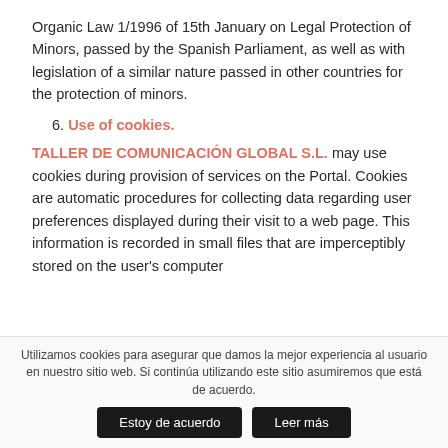Organic Law 1/1996 of 15th January on Legal Protection of Minors, passed by the Spanish Parliament, as well as with legislation of a similar nature passed in other countries for the protection of minors.
6. Use of cookies.
TALLER DE COMUNICACIÓN GLOBAL S.L. may use cookies during provision of services on the Portal. Cookies are automatic procedures for collecting data regarding user preferences displayed during their visit to a web page. This information is recorded in small files that are imperceptibly stored on the user's computer
Utilizamos cookies para asegurar que damos la mejor experiencia al usuario en nuestro sitio web. Si continúa utilizando este sitio asumiremos que está de acuerdo.
Estoy de acuerdo | Leer más